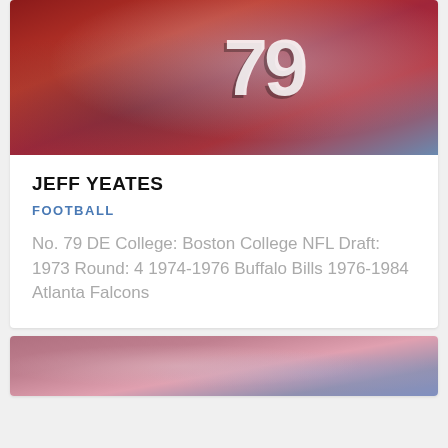[Figure (photo): Blurred close-up photo of a football player wearing a red jersey with the number 79]
JEFF YEATES
FOOTBALL
No. 79 DE College: Boston College NFL Draft: 1973 Round: 4 1974-1976 Buffalo Bills 1976-1984 Atlanta Falcons
[Figure (photo): Blurred close-up photo of a sports scene with pink and blue tones, partially visible at bottom of page]